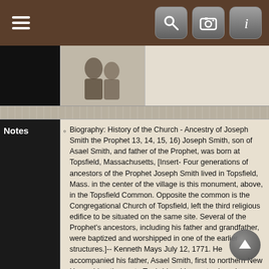Navigation bar with hamburger menu and icons
[Figure (photo): Photo strip with black cell on left, a portrait photo in center, and empty cell on right]
Notes
Biography: History of the Church - Ancestry of Joseph Smith the Prophet 13, 14, 15, 16) Joseph Smith, son of Asael Smith, and father of the Prophet, was born at Topsfield, Massachusetts, [Insert- Four generations of ancestors of the Prophet Joseph Smith lived in Topsfield, Mass. in the center of the village is this monument, above, in the Topsfield Common. Opposite the common is the Congregational Church of Topsfield, left the third religious edifice to be situated on the same site. Several of the Prophet's ancestors, including his father and grandfather, were baptized and worshipped in one of the earlier structures.]-- Kenneth Mays July 12, 1771. He accompanied his father, Asael Smith, first to northern New Hampshire, thence to Tunbridge, Vermont, where he assisted in clearing a farm of which, four years after it was first cleared, he took possession to cultivate on the "half share" system, common to those times in New England; while his father and four other went on clearing a farm of which, four years after was first cleared, he took possession to cultivate on the "half share" system, common to those times in